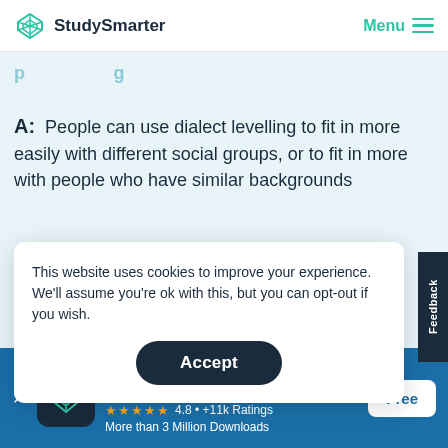StudySmarter   Menu
A: People can use dialect levelling to fit in more easily with different social groups, or to fit in more with people who have similar backgrounds
This website uses cookies to improve your experience. We'll assume you're ok with this, but you can opt-out if you wish.
Accept
Feedback
StudySmarter - The all-in-one study app.
★★★★★ 4.8 • +11k Ratings
More than 3 Million Downloads
Free